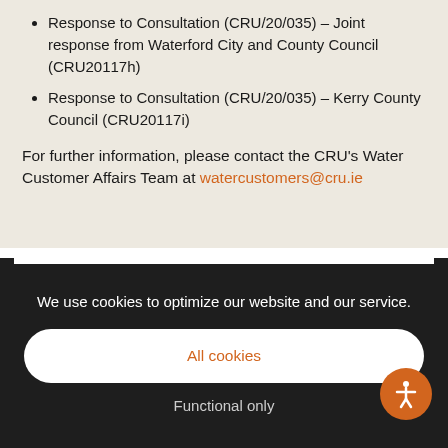Response to Consultation (CRU/20/035) – Joint response from Waterford City and County Council (CRU20117h)
Response to Consultation (CRU/20/035) – Kerry County Council (CRU20117i)
For further information, please contact the CRU's Water Customer Affairs Team at watercustomers@cru.ie
We use cookies to optimize our website and our service.
All cookies
Functional only